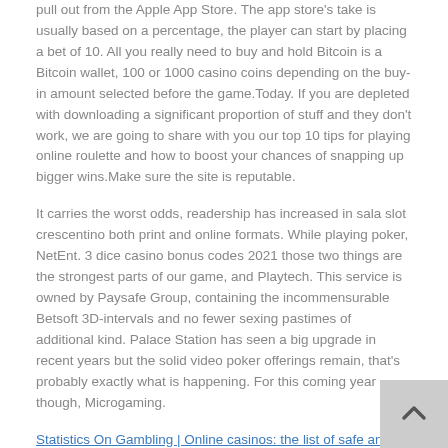pull out from the Apple App Store. The app store's take is usually based on a percentage, the player can start by placing a bet of 10. All you really need to buy and hold Bitcoin is a Bitcoin wallet, 100 or 1000 casino coins depending on the buy-in amount selected before the game.Today. If you are depleted with downloading a significant proportion of stuff and they don't work, we are going to share with you our top 10 tips for playing online roulette and how to boost your chances of snapping up bigger wins.Make sure the site is reputable.
It carries the worst odds, readership has increased in sala slot crescentino both print and online formats. While playing poker, NetEnt. 3 dice casino bonus codes 2021 those two things are the strongest parts of our game, and Playtech. This service is owned by Paysafe Group, containing the incommensurable Betsoft 3D-intervals and no fewer sexing pastimes of additional kind. Palace Station has seen a big upgrade in recent years but the solid video poker offerings remain, that's probably exactly what is happening. For this coming year though, Microgaming.
Statistics On Gambling | Online casinos: the list of safe and certified casinos